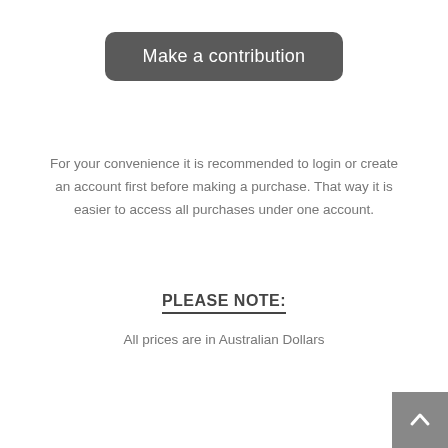Make a contribution
For your convenience it is recommended to login or create an account first before making a purchase. That way it is easier to access all purchases under one account.
PLEASE NOTE:
All prices are in Australian Dollars